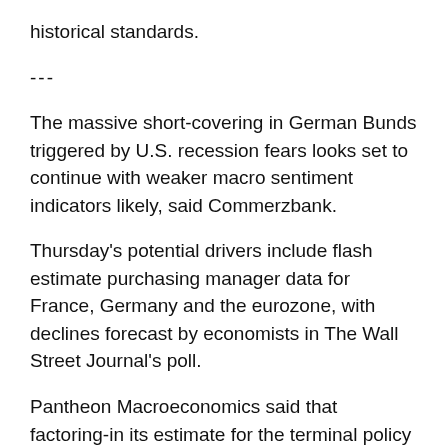historical standards.
---
The massive short-covering in German Bunds triggered by U.S. recession fears looks set to continue with weaker macro sentiment indicators likely, said Commerzbank.
Thursday's potential drivers include flash estimate purchasing manager data for France, Germany and the eurozone, with declines forecast by economists in The Wall Street Journal's poll.
Pantheon Macroeconomics said that factoring-in its estimate for the terminal policy rate around 1.5% and that Bund yields hit almost 2% earlier this month "the worst should be over for bruised Bund owners."